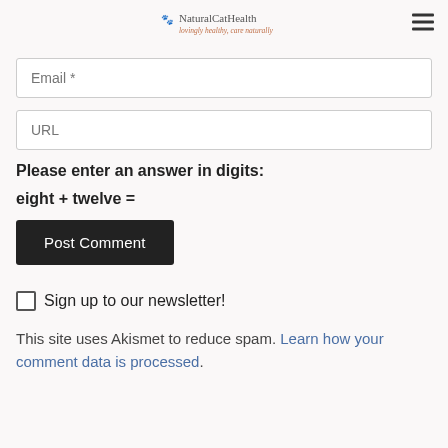NaturalCatHealth – lovingly healthy, care naturally
Email *
URL
Please enter an answer in digits:
eight + twelve =
Post Comment
Sign up to our newsletter!
This site uses Akismet to reduce spam. Learn how your comment data is processed.